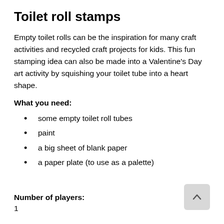Toilet roll stamps
Empty toilet rolls can be the inspiration for many craft activities and recycled craft projects for kids. This fun stamping idea can also be made into a Valentine's Day art activity by squishing your toilet tube into a heart shape.
What you need:
some empty toilet roll tubes
paint
a big sheet of blank paper
a paper plate (to use as a palette)
Number of players:
1